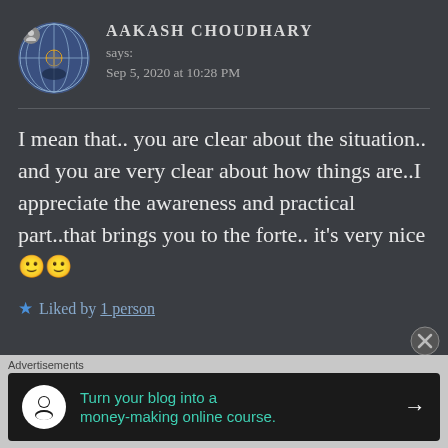[Figure (photo): Circular avatar profile image showing a globe/NATO-like emblem with a small user icon overlay in the top-left]
AAKASH CHOUDHARY
says:
Sep 5, 2020 at 10:28 PM
I mean that.. you are clear about the situation.. and you are very clear about how things are..I appreciate the awareness and practical part..that brings you to the forte.. it's very nice 🙂🙂
★ Liked by 1 person
Advertisements
Turn your blog into a money-making online course. →